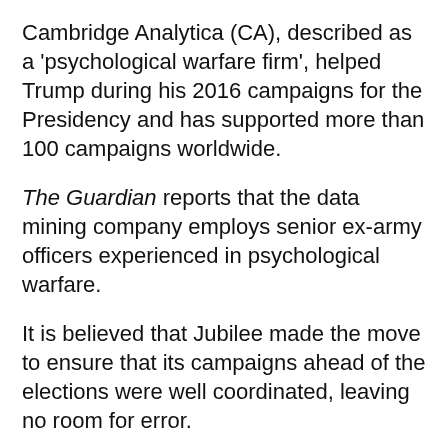Cambridge Analytica (CA), described as a 'psychological warfare firm', helped Trump during his 2016 campaigns for the Presidency and has supported more than 100 campaigns worldwide.
The Guardian reports that the data mining company employs senior ex-army officers experienced in psychological warfare.
It is believed that Jubilee made the move to ensure that its campaigns ahead of the elections were well coordinated, leaving no room for error.
The Star quotes a "well-placed source" at State House as revealing that Cambridge Analytica sent a delegation to Kenya over the weekend to find out what voters believe the current regime has not done and what it should do if elected for a second term.
CA often targets undecided voters in a particular region and bombards them with social media posts